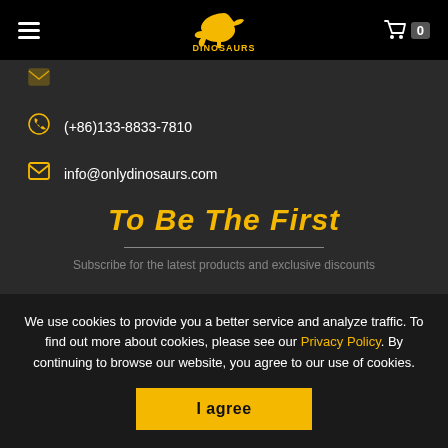DINOSAURS - navigation header with hamburger menu, logo, and cart icon showing 0
(+86)133-8833-7810
info@onlydinosaurs.com
To Be The First
We use cookies to provide you a better service and analyze traffic. To find out more about cookies, please see our Privacy Policy. By continuing to browse our website, you agree to our use of cookies.
I agree